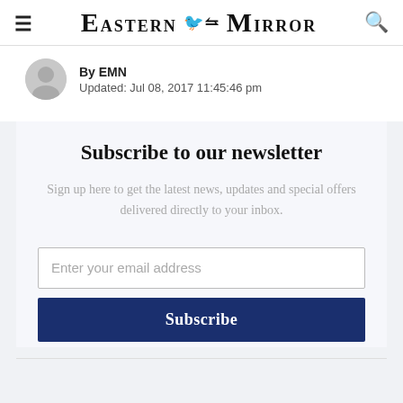Eastern Mirror
By EMN
Updated: Jul 08, 2017 11:45:46 pm
Subscribe to our newsletter
Sign up here to get the latest news, updates and special offers delivered directly to your inbox.
Enter your email address
Subscribe